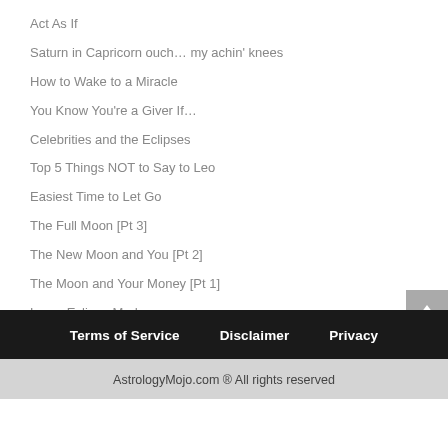Act As If
Saturn in Capricorn ouch… my achin' knees
How to Wake to a Miracle
You Know You're a Giver If…
Celebrities and the Eclipses
Top 5 Things NOT to Say to Leo
Easiest Time to Let Go
The Full Moon [Pt 3]
The New Moon and You [Pt 2]
The Moon and Your Money [Pt 1]
Lunar Eclipse Madness
Terms of Service   Disclaimer   Privacy
AstrologyMojo.com ® All rights reserved